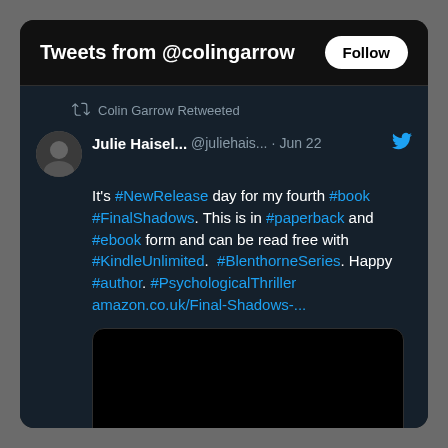Tweets from @colingarrow
Colin Garrow Retweeted
Julie Haisel... @juliehais... · Jun 22
It's #NewRelease day for my fourth #book #FinalShadows. This is in #paperback and #ebook form and can be read free with #KindleUnlimited. #BlenthorneSeries. Happy #author. #PsychologicalThriller amazon.co.uk/Final-Shadows-...
[Figure (photo): Black image placeholder for tweet attached photo/media]